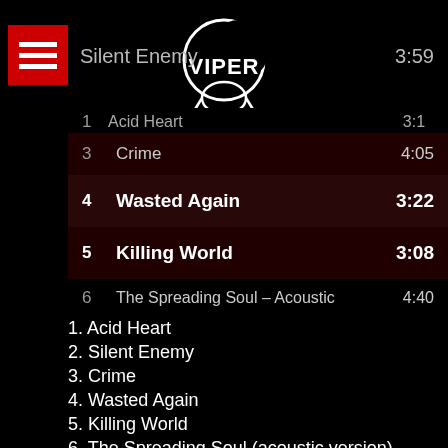[Figure (screenshot): Music app screenshot showing a tracklist for Viper band. Top bar with hamburger menu icon (red), Viper logo, and 'Silent Enemy' track visible. Playlist panel showing tracks 3-6 on dark red background. Below: full track listing 1-6, LETRAS button in red with orange text, and band credits.]
1. Acid Heart
2. Silent Enemy
3. Crime
4. Wasted Again
5. Killing World
6. The Spreading Soul (acoustic version)
[LETRAS]
Pit Passarell – Vocals & Bass
Yves Passarell – Guitars
Felipe Machado – Guitars
Renato Graccia – Drums
Special Guests